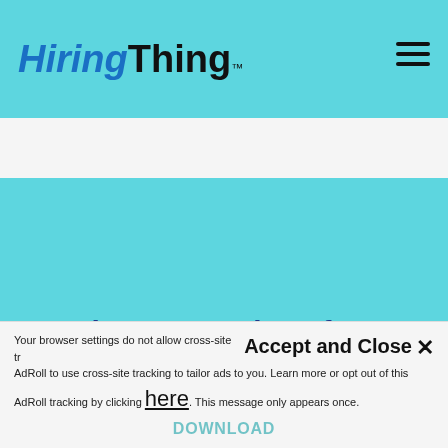[Figure (logo): HiringThing logo with blue italic 'Hiring' and black bold 'Thing' text, with TM superscript]
[Figure (other): Hamburger menu icon with three horizontal black lines]
The Economics of an Integrated Applicant Tracking System
Your browser settings do not allow cross-site tracking. Accept and Close ✕ AdRoll to use cross-site tracking to tailor ads to you. Learn more or opt out of this AdRoll tracking by clicking here. This message only appears once.
DOWNLOAD